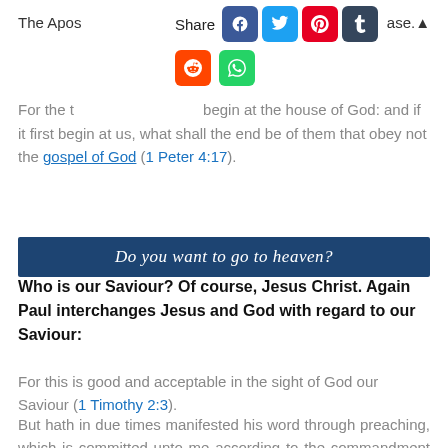The Apos... ase.
[Figure (other): Social share bar with icons for Facebook, Twitter, Pinterest, Tumblr, Reddit, WhatsApp]
For the t... begin at the house of God: and if it first begin at us, what shall the end be of them that obey not the gospel of God (1 Peter 4:17).
Do you want to go to heaven?
Who is our Saviour? Of course, Jesus Christ. Again Paul interchanges Jesus and God with regard to our Saviour:
For this is good and acceptable in the sight of God our Saviour (1 Timothy 2:3).
But hath in due times manifested his word through preaching, which is committed unto me according to the commandment of God our Saviour (Titus 1:3).